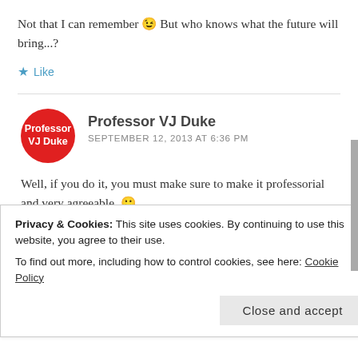Not that I can remember 😉 But who knows what the future will bring...?
★ Like
Professor VJ Duke
SEPTEMBER 12, 2013 AT 6:36 PM
Well, if you do it, you must make sure to make it professorial and very agreeable. 🙂
Privacy & Cookies: This site uses cookies. By continuing to use this website, you agree to their use. To find out more, including how to control cookies, see here: Cookie Policy
Close and accept